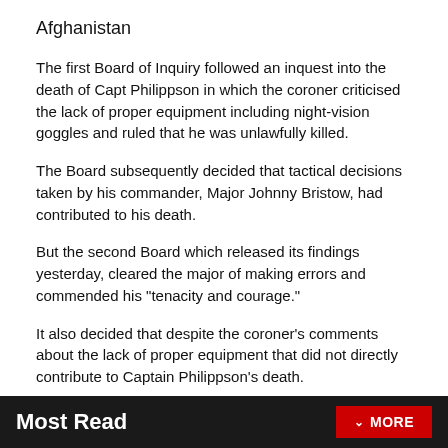Afghanistan
The first Board of Inquiry followed an inquest into the death of Capt Philippson in which the coroner criticised the lack of proper equipment including night-vision goggles and ruled that he was unlawfully killed.
The Board subsequently decided that tactical decisions taken by his commander, Major Johnny Bristow, had contributed to his death.
But the second Board which released its findings yesterday, cleared the major of making errors and commended his "tenacity and courage."
It also decided that despite the coroner's comments about the lack of proper equipment that did not directly contribute to Captain Philippson's death.
Most Read  MORE